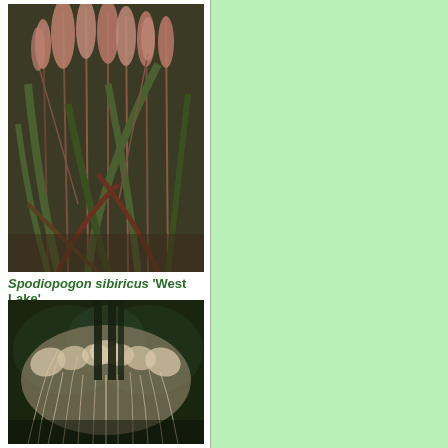[Figure (photo): Photo of Spodiopogon sibiricus 'West Lake' grass plant with reddish-pink feathery plumes and green foliage]
Spodiopogon sibiricus 'West Lake'
[Figure (photo): Photo of ornamental grass with delicate, feathery light-colored plumes against dark foliage background]